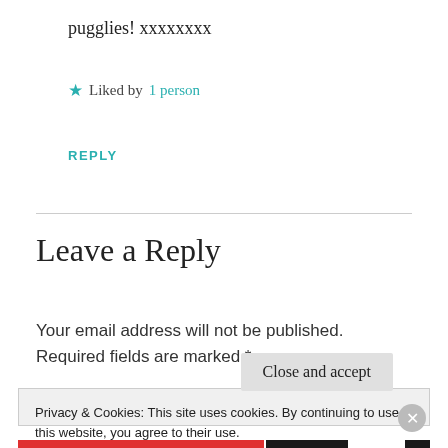pugglies! xxxxxxxx
★ Liked by 1 person
REPLY
Leave a Reply
Your email address will not be published. Required fields are marked *
Privacy & Cookies: This site uses cookies. By continuing to use this website, you agree to their use.
To find out more, including how to control cookies, see here: Cookie Policy
Close and accept